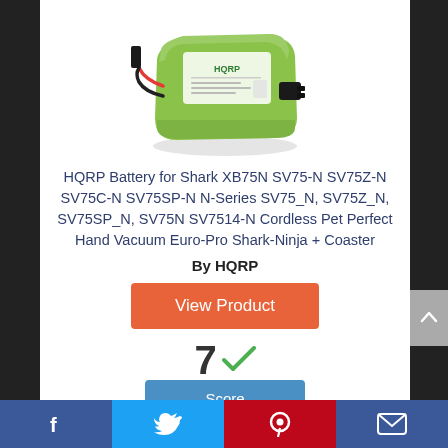[Figure (photo): Green HQRP replacement battery pack with red and black wires and connector]
HQRP Battery for Shark XB75N SV75-N SV75Z-N SV75C-N SV75SP-N N-Series SV75_N, SV75Z_N, SV75SP_N, SV75N SV7514-N Cordless Pet Perfect Hand Vacuum Euro-Pro Shark-Ninja + Coaster
By HQRP
View Product
7
Score
Facebook | Twitter | Pinterest | Email